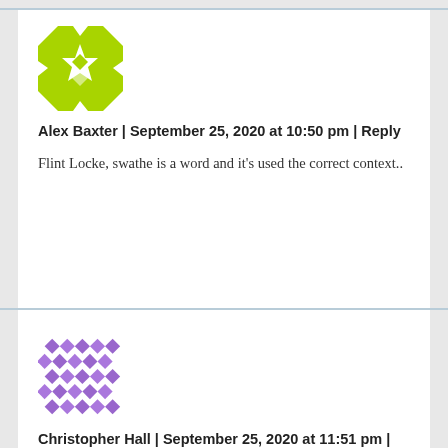[Figure (illustration): Green square avatar with white geometric star/snowflake pattern — user avatar for Alex Baxter]
Alex Baxter | September 25, 2020 at 10:50 pm | Reply
Flint Locke, swathe is a word and it’s used the correct context..
[Figure (illustration): Purple diamond/rhombus grid pattern avatar — user avatar for Christopher Hall]
Christopher Hall | September 25, 2020 at 11:51 pm | Reply